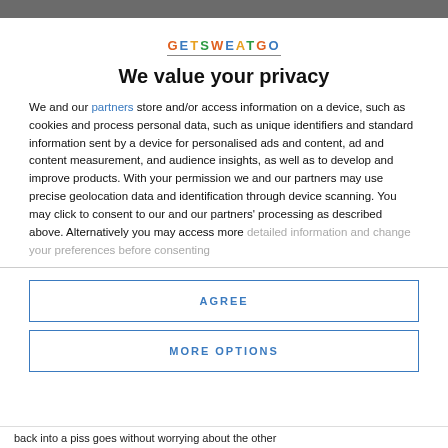[Figure (logo): GETSWEATGO logo in multicolor letters with underline]
We value your privacy
We and our partners store and/or access information on a device, such as cookies and process personal data, such as unique identifiers and standard information sent by a device for personalised ads and content, ad and content measurement, and audience insights, as well as to develop and improve products. With your permission we and our partners may use precise geolocation data and identification through device scanning. You may click to consent to our and our partners' processing as described above. Alternatively you may access more detailed information and change your preferences before consenting
AGREE
MORE OPTIONS
back into a piss goes without worrying about the other